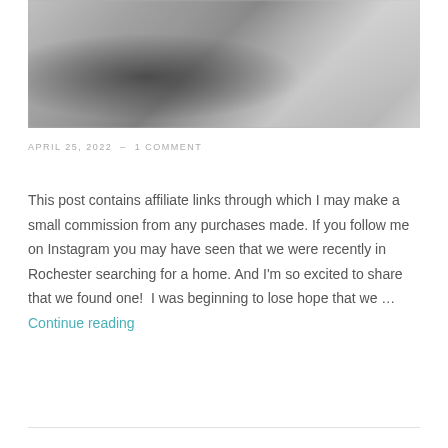[Figure (photo): Black and white photo of a house exterior with garage and porch railing visible, showing a person in silhouette]
APRIL 25, 2022  -  1 COMMENT
This post contains affiliate links through which I may make a small commission from any purchases made. If you follow me on Instagram you may have seen that we were recently in Rochester searching for a home. And I'm so excited to share that we found one!  I was beginning to lose hope that we … Continue reading